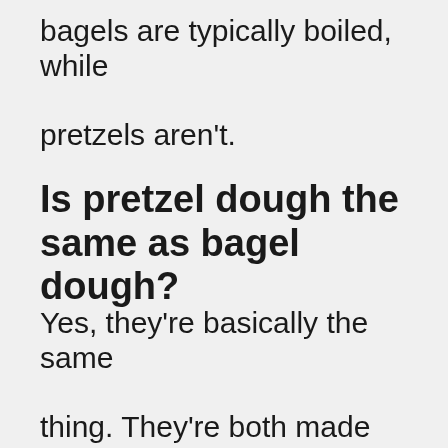bagels are typically boiled, while pretzels aren't.
Is pretzel dough the same as bagel dough?
Yes, they're basically the same thing. They're both made from flour, water, salt and yeast. However, they differ in several